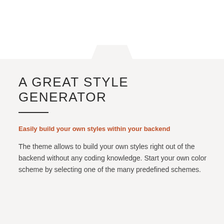A GREAT STYLE GENERATOR
Easily build your own styles within your backend
The theme allows to build your own styles right out of the backend without any coding knowledge. Start your own color scheme by selecting one of the many predefined schemes.